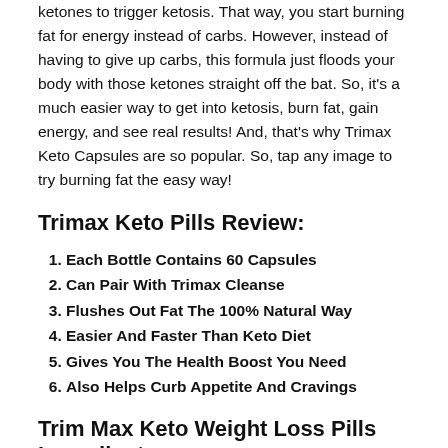ketones to trigger ketosis. That way, you start burning fat for energy instead of carbs. However, instead of having to give up carbs, this formula just floods your body with those ketones straight off the bat. So, it's a much easier way to get into ketosis, burn fat, gain energy, and see real results! And, that's why Trimax Keto Capsules are so popular. So, tap any image to try burning fat the easy way!
Trimax Keto Pills Review:
Each Bottle Contains 60 Capsules
Can Pair With Trimax Cleanse
Flushes Out Fat The 100% Natural Way
Easier And Faster Than Keto Diet
Gives You The Health Boost You Need
Also Helps Curb Appetite And Cravings
Trim Max Keto Weight Loss Pills Ingredients
This formula is designed to help you lose weight easily and